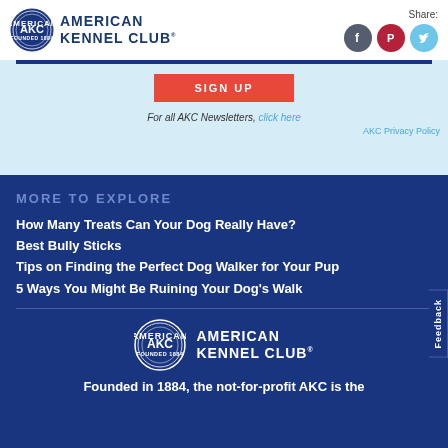[Figure (logo): American Kennel Club logo - circular seal with AKC text and American Kennel Club text beside it]
Share:
[Figure (infographic): Social share icons: Facebook (dark gray circle), Pinterest (red circle), Twitter (light blue circle)]
[Figure (other): SIGN UP button (red/orange)]
For all AKC Newsletters, click here
AKC Privacy Policy
MORE TO EXPLORE
How Many Treats Can Your Dog Really Have?
Best Bully Sticks
Tips on Finding the Perfect Dog Walker for Your Pup
5 Ways You Might Be Ruining Your Dog's Walk
[Figure (logo): American Kennel Club logo in white on dark blue background]
Founded in 1884, the not-for-profit AKC is the